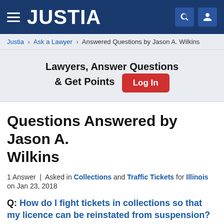JUSTIA
Justia › Ask a Lawyer › Answered Questions by Jason A. Wilkins
Lawyers, Answer Questions & Get Points  Log In
Questions Answered by Jason A. Wilkins
1 Answer | Asked in Collections and Traffic Tickets for Illinois on Jan 23, 2018
Q: How do I fight tickets in collections so that my licence can be reinstated from suspension?